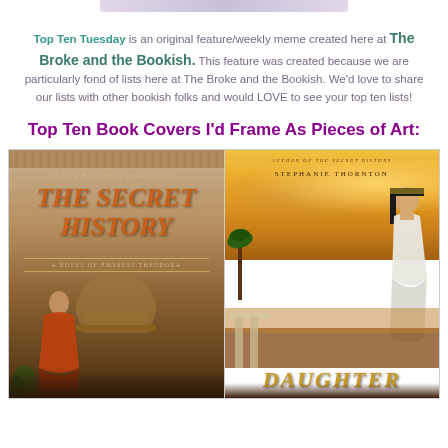[Figure (other): A decorative top bar/button element at the top of the page]
Top Ten Tuesday is an original feature/weekly meme created here at The Broke and the Bookish. This feature was created because we are particularly fond of lists here at The Broke and the Bookish. We'd love to share our lists with other bookish folks and would LOVE to see your top ten lists!
Top Ten Book Covers I'd Frame As Pieces of Art:
[Figure (illustration): Two book covers side by side. Left: 'The Secret History: A Novel of Empress Theodora' by Stephanie Thornton — shows a woman in ornate dress sitting before a domed building. Right: 'Daughter' by Stephanie Thornton (author of The Secret History) — shows a woman in white dress with Egyptian headdress against a golden sunset with palm trees.]